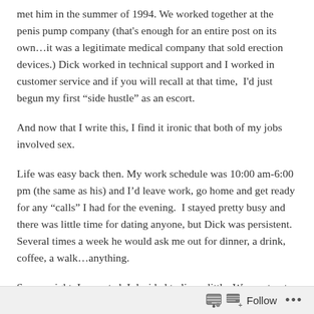met him in the summer of 1994. We worked together at the penis pump company (that's enough for an entire post on its own…it was a legitimate medical company that sold erection devices.) Dick worked in technical support and I worked in customer service and if you will recall at that time, I'd just begun my first “side hustle” as an escort.
And now that I write this, I find it ironic that both of my jobs involved sex.
Life was easy back then. My work schedule was 10:00 am-6:00 pm (the same as his) and I’d leave work, go home and get ready for any “calls” I had for the evening. I stayed pretty busy and there was little time for dating anyone, but Dick was persistent. Several times a week he would ask me out for dinner, a drink, coffee, a walk…anything.
So one night, I accepted. I decided to live a little. We went out to a downtown pub and had some drinks and appetizers. It was fun. He
Follow